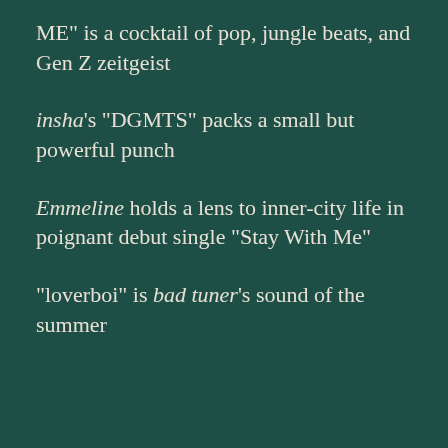ME" is a cocktail of pop, jungle beats, and Gen Z zeitgeist
insha's "DGMTS" packs a small but powerful punch
Emmeline holds a lens to inner-city life in poignant debut single "Stay With Me"
"loverboi" is bad tuner's sound of the summer